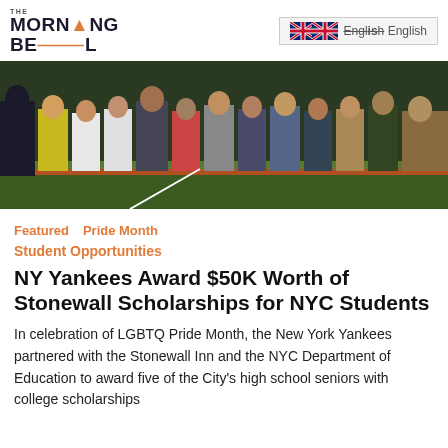THE MORNING BEAL
[Figure (photo): Group of people standing on a baseball field, posing for a photo. They are dressed in various outfits including sports jerseys and formal wear.]
Featured   Pride Month
Student Opportunities
NY Yankees Award $50K Worth of Stonewall Scholarships for NYC Students
In celebration of LGBTQ Pride Month, the New York Yankees partnered with the Stonewall Inn and the NYC Department of Education to award five of the City's high school seniors with college scholarships